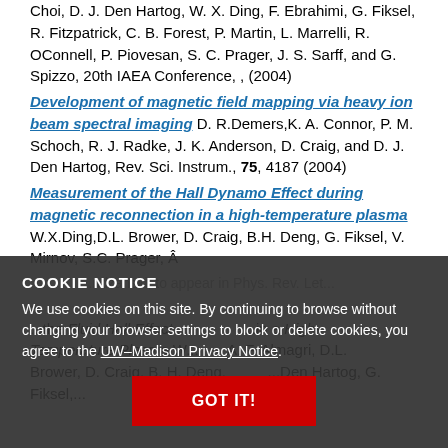Choi, D. J. Den Hartog, W. X. Ding, F. Ebrahimi, G. Fiksel, R. Fitzpatrick, C. B. Forest, P. Martin, L. Marrelli, R. OConnell, P. Piovesan, S. C. Prager, J. S. Sarff, and G. Spizzo, 20th IAEA Conference, , (2004)
Development of magnetic field mapping via heavy ion beam spectral imaging D. R.Demers,K. A. Connor, P. M. Schoch, R. J. Radke, J. K. Anderson, D. Craig, and D. J. Den Hartog, Rev. Sci. Instrum., 75, 4187 (2004)
Measurement of the Hall Dynamo Effect during magnetic reconnection in a high-temperature plasma W.X.Ding,D.L. Brower, D. Craig, B.H. Deng, G. Fiksel, V. Mirnov, S.C. Prager, Â... to appear in Phys. Rev. Let...
...the Fluid Hall Effect... ...in a High-Temperature Plasma W... ...A. F. Almagri, D.L. Brower, D. Craig, B. H. Deng, ... ...Den Hartog, G. Fiksel,...
COOKIE NOTICE
We use cookies on this site. By continuing to browse without changing your browser settings to block or delete cookies, you agree to the UW–Madison Privacy Notice.